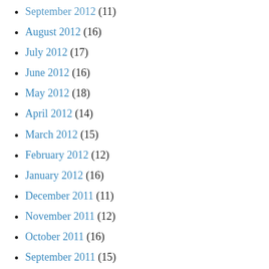September 2012 (11)
August 2012 (16)
July 2012 (17)
June 2012 (16)
May 2012 (18)
April 2012 (14)
March 2012 (15)
February 2012 (12)
January 2012 (16)
December 2011 (11)
November 2011 (12)
October 2011 (16)
September 2011 (15)
August 2011 (16)
July 2011 (20)
June 2011 (20)
May 2011 (12)